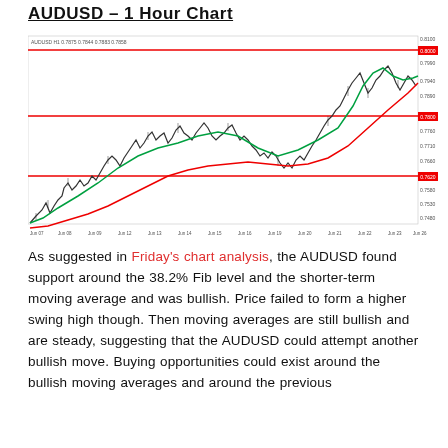AUDUSD – 1 Hour Chart
[Figure (continuous-plot): AUDUSD 1-hour candlestick chart showing price action with two moving averages (red and green), and three horizontal red support/resistance lines. The price trends upward overall from left to right, with the moving averages curving upward on the right side of the chart. Y-axis shows price levels, X-axis shows dates/times.]
As suggested in Friday's chart analysis, the AUDUSD found support around the 38.2% Fib level and the shorter-term moving average and was bullish. Price failed to form a higher swing high though. Then moving averages are still bullish and are steady, suggesting that the AUDUSD could attempt another bullish move. Buying opportunities could exist around the bullish moving averages and around the previous